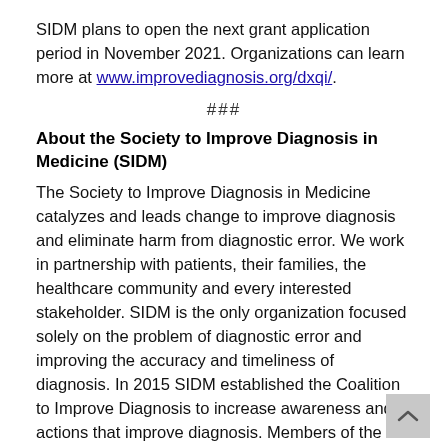SIDM plans to open the next grant application period in November 2021. Organizations can learn more at www.improvediagnosis.org/dxqi/.
###
About the Society to Improve Diagnosis in Medicine (SIDM)
The Society to Improve Diagnosis in Medicine catalyzes and leads change to improve diagnosis and eliminate harm from diagnostic error. We work in partnership with patients, their families, the healthcare community and every interested stakeholder. SIDM is the only organization focused solely on the problem of diagnostic error and improving the accuracy and timeliness of diagnosis. In 2015 SIDM established the Coalition to Improve Diagnosis to increase awareness and actions that improve diagnosis. Members of the Coalition represent hundreds of thousands of healthcare providers and patients—and the leading health organizations and government agencies